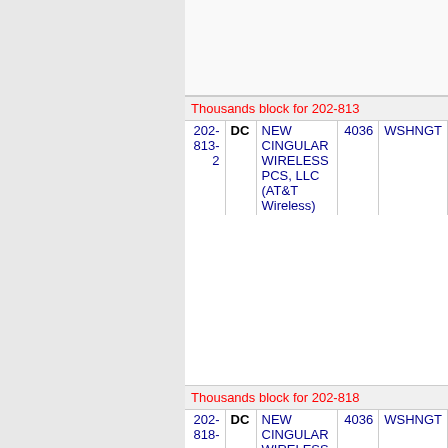Thousands block for 202-813
| NXX | State | Carrier | Code | City |
| --- | --- | --- | --- | --- |
| 202-813-2 | DC | NEW CINGULAR WIRELESS PCS, LLC (AT&T Wireless) | 4036 | WSHNGT |
Thousands block for 202-818
| NXX | State | Carrier | Code | City |
| --- | --- | --- | --- | --- |
| 202-818- | DC | NEW CINGULAR WIRELESS | 4036 | WSHNGT |